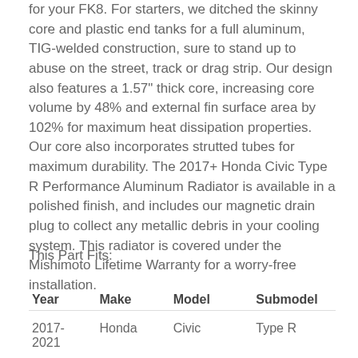for your FK8. For starters, we ditched the skinny core and plastic end tanks for a full aluminum, TIG-welded construction, sure to stand up to abuse on the street, track or drag strip. Our design also features a 1.57" thick core, increasing core volume by 48% and external fin surface area by 102% for maximum heat dissipation properties. Our core also incorporates strutted tubes for maximum durability. The 2017+ Honda Civic Type R Performance Aluminum Radiator is available in a polished finish, and includes our magnetic drain plug to collect any metallic debris in your cooling system. This radiator is covered under the Mishimoto Lifetime Warranty for a worry-free installation.
This Part Fits:
| Year | Make | Model | Submodel |
| --- | --- | --- | --- |
| 2017-2021 | Honda | Civic | Type R |